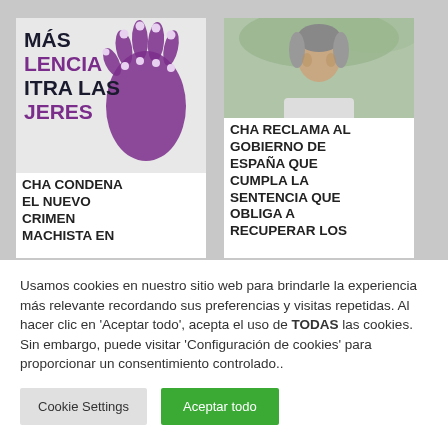[Figure (screenshot): Left card with purple handprint image and text 'MÁS VIOLENCIA CONTRA LAS MUJERES' partially visible]
CHA CONDENA EL NUEVO CRIMEN MACHISTA EN
[Figure (photo): Right card with photo of a man and text 'CHA RECLAMA AL GOBIERNO DE ESPAÑA QUE CUMPLA LA SENTENCIA QUE OBLIGA A RECUPERAR LOS']
CHA RECLAMA AL GOBIERNO DE ESPAÑA QUE CUMPLA LA SENTENCIA QUE OBLIGA A RECUPERAR LOS
Usamos cookies en nuestro sitio web para brindarle la experiencia más relevante recordando sus preferencias y visitas repetidas. Al hacer clic en 'Aceptar todo', acepta el uso de TODAS las cookies. Sin embargo, puede visitar 'Configuración de cookies' para proporcionar un consentimiento controlado..
Cookie Settings
Aceptar todo